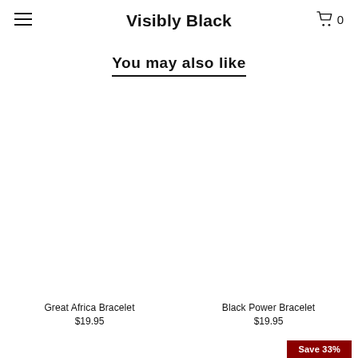Visibly Black
You may also like
[Figure (photo): Product image placeholder for Great Africa Bracelet]
Great Africa Bracelet
$19.95
[Figure (photo): Product image placeholder for Black Power Bracelet]
Black Power Bracelet
$19.95
Save 33%